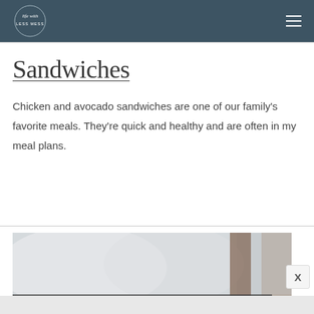life with LESS MESS
Sandwiches
Chicken and avocado sandwiches are one of our family's favorite meals. They're quick and healthy and are often in my meal plans.
[Figure (photo): Photo of what appears to be a notebook or spiral-bound planner resting on a surface with white pillows or cushions in soft focus background]